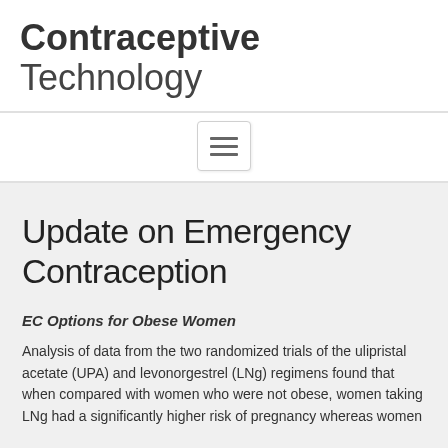Contraceptive Technology
[Figure (other): Hamburger menu navigation button icon with three horizontal lines]
Update on Emergency Contraception
EC Options for Obese Women
Analysis of data from the two randomized trials of the ulipristal acetate (UPA) and levonorgestrel (LNg) regimens found that when compared with women who were not obese, women taking LNg had a significantly higher risk of pregnancy whereas women